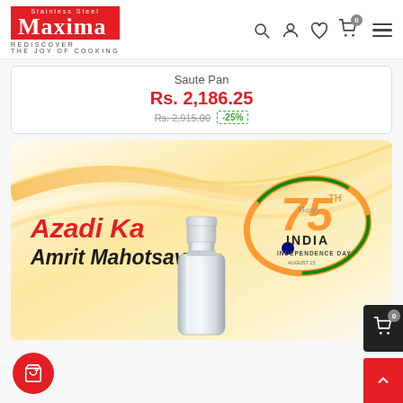[Figure (logo): Maxima Stainless Steel brand logo - red background with white Maxima text, tagline REDISCOVER THE JOY OF COOKING]
Saute Pan
Rs. 2,186.25
Rs. 2,915.00  -25%
[Figure (infographic): Azadi Ka Amrit Mahotsav promotional banner with 75th India Independence Day logo and a stainless steel bottle product image]